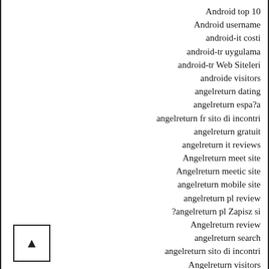Android top 10
Android username
android-it costi
android-tr uygulama
android-tr Web Siteleri
androide visitors
angelreturn dating
angelreturn espa?a
angelreturn fr sito di incontri
angelreturn gratuit
angelreturn it reviews
Angelreturn meet site
Angelreturn meetic site
angelreturn mobile site
angelreturn pl review
?angelreturn pl Zapisz si
Angelreturn review
angelreturn search
angelreturn sito di incontri
Angelreturn visitors
angelreturn-overzicht Reddit
Ann Arbor+MI+Michigan gay hookup
Ann Arbor+MI+Michigan site
ann-arbor dating
ann-arbor escort directory
ann-arbor escort radar
ann-arbor review